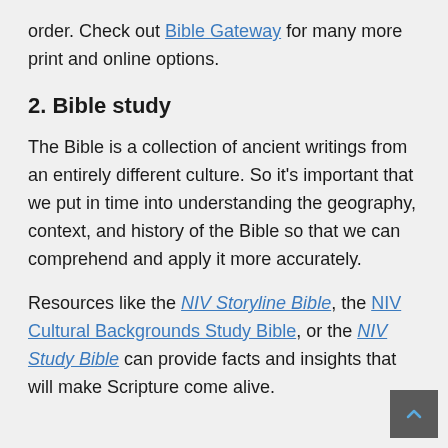order. Check out Bible Gateway for many more print and online options.
2. Bible study
The Bible is a collection of ancient writings from an entirely different culture. So it's important that we put in time into understanding the geography, context, and history of the Bible so that we can comprehend and apply it more accurately.
Resources like the NIV Storyline Bible, the NIV Cultural Backgrounds Study Bible, or the NIV Study Bible can provide facts and insights that will make Scripture come alive.